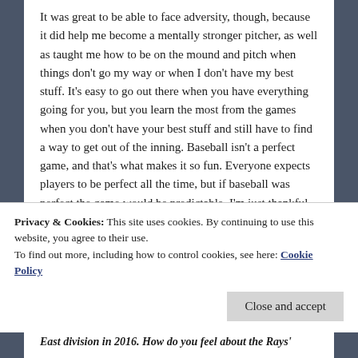It was great to be able to face adversity, though, because it did help me become a mentally stronger pitcher, as well as taught me how to be on the mound and pitch when things don't go my way or when I don't have my best stuff. It's easy to go out there when you have everything going for you, but you learn the most from the games when you don't have your best stuff and still have to find a way to get out of the inning. Baseball isn't a perfect game, and that's what makes it so fun. Everyone expects players to be perfect all the time, but if baseball was perfect the game would be predictable. I'm just thankful for the adversity I went through, because I feel it helped me once I got to Durham, and helped me become a better pitcher overall.
Privacy & Cookies: This site uses cookies. By continuing to use this website, you agree to their use.
To find out more, including how to control cookies, see here: Cookie Policy
East division in 2016. How do you feel about the Rays'